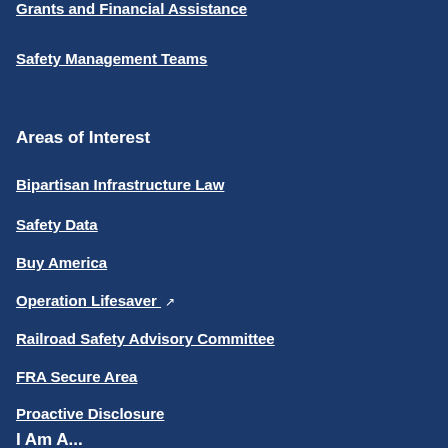Grants and Financial Assistance
Safety Management Teams
Areas of Interest
Bipartisan Infrastructure Law
Safety Data
Buy America
Operation Lifesaver (external link)
Railroad Safety Advisory Committee
FRA Secure Area
Proactive Disclosure
I Am A...